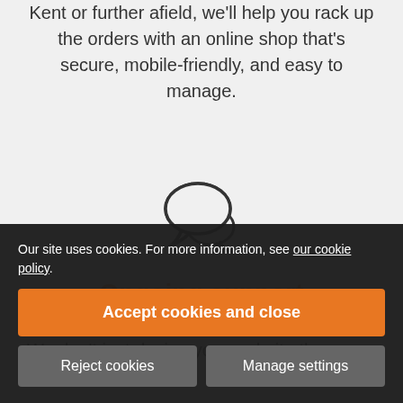Kent or further afield, we'll help you rack up the orders with an online shop that's secure, mobile-friendly, and easy to manage.
[Figure (illustration): Chat bubble / speech bubble icon outline in dark gray]
Ongoing support
We don't just design your website then send you on your way to sink or swim. We're also invested in your business being a success. That's why we'll always be around to help you make the most of it, including SEO, the proper foundations for class design and excellent support.
Our site uses cookies. For more information, see our cookie policy.
Accept cookies and close
Reject cookies
Manage settings